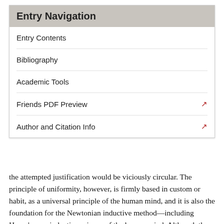Entry Navigation
Entry Contents
Bibliography
Academic Tools
Friends PDF Preview
Author and Citation Info
the attempted justification would be viciously circular. The principle of uniformity, however, is firmly based in custom or habit, as a universal principle of the human mind, and it is also the foundation for the Newtonian inductive method—including Hume's own inductive science of the human mind. Although the principle thus has normative force in all our reasoning concerning matters of fact in both science and common life, it cannot ultimately legitimate the attribution of objective necessity to our inductively established laws of nature.[49]